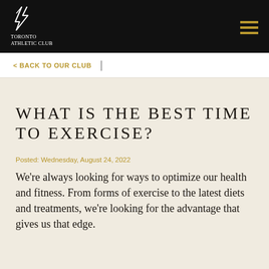[Figure (logo): Toronto Athletic Club logo: white stylized figure mark above text 'Toronto Athletic Club' on black background, with gold/brown hamburger menu icon at top right]
< BACK TO OUR CLUB
WHAT IS THE BEST TIME TO EXERCISE?
Posted: Wednesday, August 24, 2022
We're always looking for ways to optimize our health and fitness. From forms of exercise to the latest diets and treatments, we're looking for the advantage that gives us that edge.